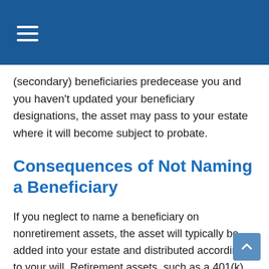(secondary) beneficiaries predecease you and you haven't updated your beneficiary designations, the asset may pass to your estate where it will become subject to probate.
Consequences of Not Naming a Beneficiary
If you neglect to name a beneficiary on nonretirement assets, the asset will typically be added into your estate and distributed according to your will. Retirement assets, such as a 401(k), get a little more intricate. If you have not named a beneficiary, the assets will be distributed according to the